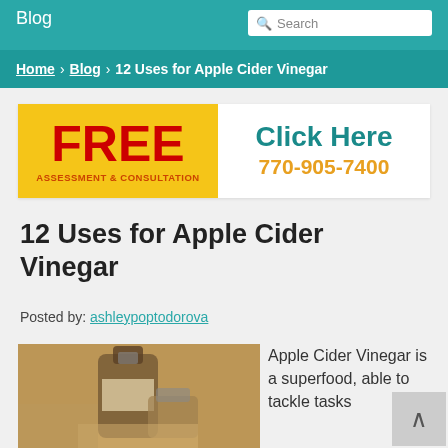Blog
Search
Home › Blog › 12 Uses for Apple Cider Vinegar
[Figure (infographic): Advertisement banner with yellow left panel showing FREE ASSESSMENT & CONSULTATION in red text, and white right panel showing Click Here in teal and 770-905-7400 in orange.]
12 Uses for Apple Cider Vinegar
Posted by: ashleypoptodorova
[Figure (photo): Photo of apple cider vinegar bottle with dark background]
Apple Cider Vinegar is a superfood, able to tackle tasks